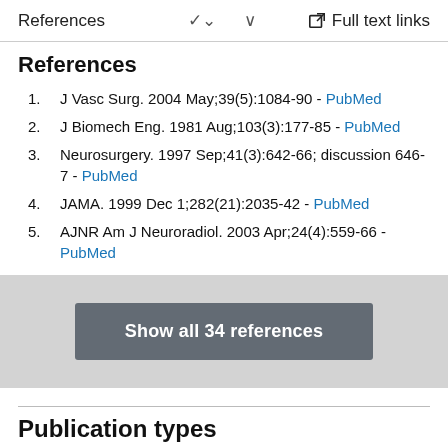References  ∨  Full text links
References
J Vasc Surg. 2004 May;39(5):1084-90 - PubMed
J Biomech Eng. 1981 Aug;103(3):177-85 - PubMed
Neurosurgery. 1997 Sep;41(3):642-66; discussion 646-7 - PubMed
JAMA. 1999 Dec 1;282(21):2035-42 - PubMed
AJNR Am J Neuroradiol. 2003 Apr;24(4):559-66 - PubMed
Show all 34 references
Publication types